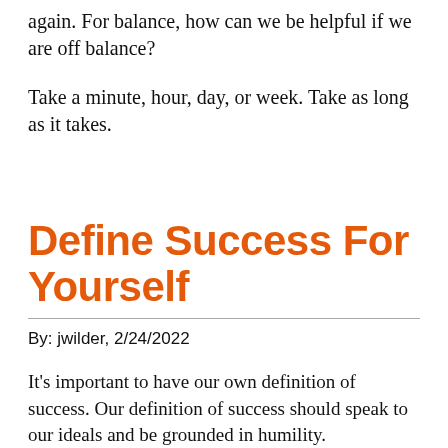again. For balance, how can we be helpful if we are off balance?
Take a minute, hour, day, or week. Take as long as it takes.
Define Success For Yourself
By: jwilder, 2/24/2022
It's important to have our own definition of success. Our definition of success should speak to our ideals and be grounded in humility.
As we pursue our dreams we will encounter many different situations, challenges, and even trials.